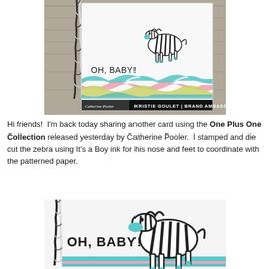[Figure (photo): Photo of a handmade baby card featuring a zebra die-cut with black and white stripes, teal nose and feet, on a white card with colorful zigzag patterned paper. Text on card reads 'Oh, Baby!' with a black and white twine. Bottom banner reads 'KRISTIE GOULET | BRAND AMBASSADOR' with Catherine Pooler Designs logo.]
Hi friends!  I'm back today sharing another card using the One Plus One Collection released yesterday by Catherine Pooler.  I stamped and die cut the zebra using It's a Boy ink for his nose and feet to coordinate with the patterned paper.
[Figure (photo): Close-up photo of the same handmade baby card showing a zebra die-cut with black and white stripes and teal accents. Text on card reads 'Oh, Baby!' Colorful teal patterned paper strip visible at bottom.]